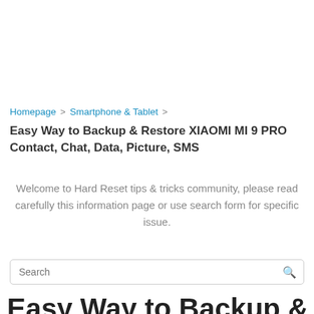Homepage > Smartphone & Tablet >
Easy Way to Backup & Restore XIAOMI MI 9 PRO Contact, Chat, Data, Picture, SMS
Welcome to Hard Reset tips & tricks community, please read carefully this information page or use search form for specific issue.
Easy Way to Backup & Restore